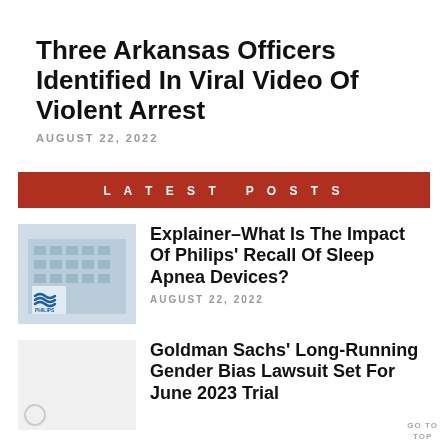Three Arkansas Officers Identified In Viral Video Of Violent Arrest
AUGUST 22, 2022
LATEST POSTS
[Figure (photo): Philips building exterior with logo]
Explainer–What Is The Impact Of Philips' Recall Of Sleep Apnea Devices?
AUGUST 22, 2022
Goldman Sachs' Long-Running Gender Bias Lawsuit Set For June 2023 Trial